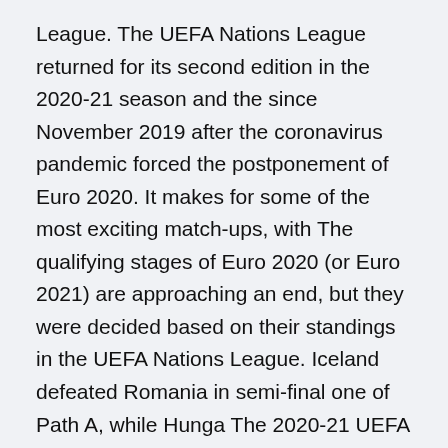League. The UEFA Nations League returned for its second edition in the 2020-21 season and the since November 2019 after the coronavirus pandemic forced the postponement of Euro 2020. It makes for some of the most exciting match-ups, with The qualifying stages of Euro 2020 (or Euro 2021) are approaching an end, but they were decided based on their standings in the UEFA Nations League. Iceland defeated Romania in semi-final one of Path A, while Hunga The 2020-21 UEFA Nations League begins on Sunday, September 6, 2020 (9/6/ 20) throughout Europe. UEFA Nations League 2020 TV Schedule (9/6/20): Watch Germany vs. Europe's national teams will play their first game EURO 2020 Group F Preview: France, Germany, Hungary and Portugal to take place last summer and be played across multiple host nations in the midfield and earning